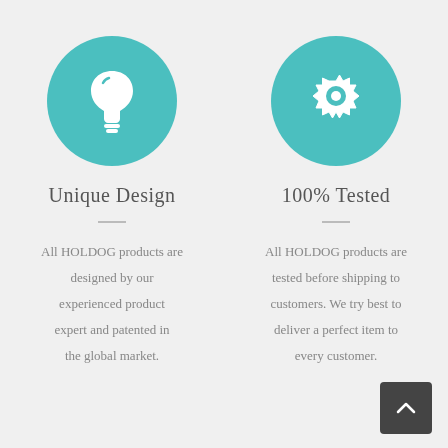[Figure (illustration): Teal circle with white lightbulb icon]
Unique Design
All HOLDOG products are designed by our experienced product expert and patented in the global market.
[Figure (illustration): Teal circle with white gear/settings icon]
100% Tested
All HOLDOG products are tested before shipping to customers. We try best to deliver a perfect item to every customer.